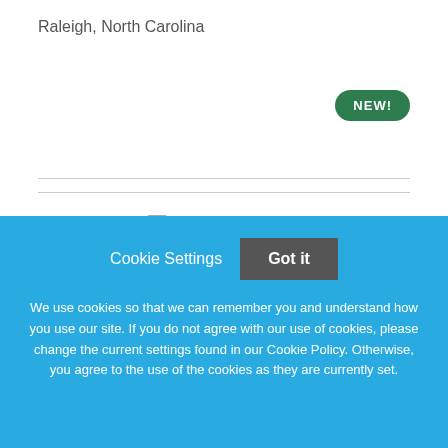Raleigh, North Carolina
[Figure (logo): Centura Health Logo placeholder image]
RN WOUND CARE
Centura Health
Cookie Settings   Got it
We use cookies so that we can remember you and understand how you use our site. If you do not agree with our use of cookies, please change the current settings found in our Cookie Policy. Otherwise, you agree to the use of the cookies as they are currently set.